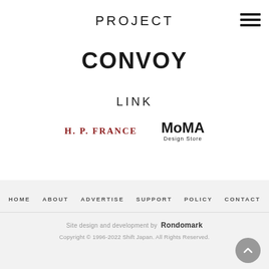PROJECT
[Figure (logo): CONVOY logo in bold stylized black lettering with spiky elements]
LINK
[Figure (logo): H.P. FRANCE logo in dark red serif letters]
[Figure (logo): MoMA Design Store logo in bold black sans-serif]
HOME   ABOUT   ADVERTISE   SUPPORT   POLICY   CONTACT
Site design and development by Rondomark
Copyright © 1996-2022 Shift Japan. All Rights Reserved.